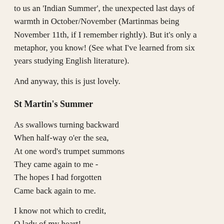to us an 'Indian Summer', the unexpected last days of warmth in October/November (Martinmas being November 11th, if I remember rightly). But it's only a metaphor, you know! (See what I've learned from six years studying English literature).
And anyway, this is just lovely.
St Martin's Summer
As swallows turning backward
When half-way o'er the sea,
At one word's trumpet summons
They came again to me -
The hopes I had forgotten
Came back again to me.
I know not which to credit,
O lady of my heart!
Your eyes that bade me linger,
Your words that bade us part -
I know not which to credit -